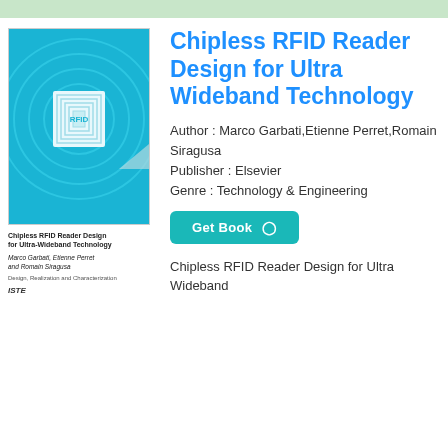[Figure (illustration): Book cover thumbnail for 'Chipless RFID Reader Design for Ultra-Wideband Technology' showing a teal/blue cover with concentric square wave pattern and ISTE logo, along with author names and subtitle text]
Chipless RFID Reader Design for Ultra Wideband Technology
Author : Marco Garbati,Etienne Perret,Romain Siragusa
Publisher : Elsevier
Genre : Technology & Engineering
Get Book
Chipless RFID Reader Design for Ultra Wideband